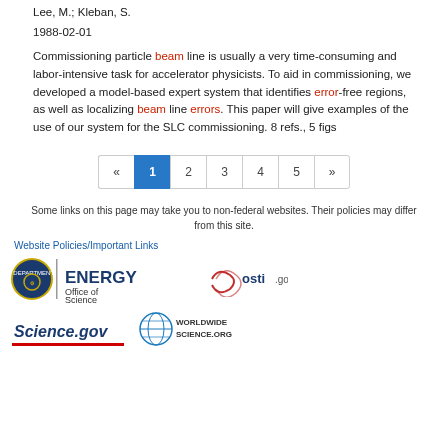Lee, M.; Kleban, S.
1988-02-01
Commissioning particle beam line is usually a very time-consuming and labor-intensive task for accelerator physicists. To aid in commissioning, we developed a model-based expert system that identifies error-free regions, as well as localizing beam line errors. This paper will give examples of the use of our system for the SLC commissioning. 8 refs., 5 figs
Pagination: « 1 2 3 4 5 »
Some links on this page may take you to non-federal websites. Their policies may differ from this site.
Website Policies/Important Links
[Figure (logo): U.S. Department of Energy Office of Science logo, osti.gov logo, Science.gov logo, WorldWideScience.org logo]